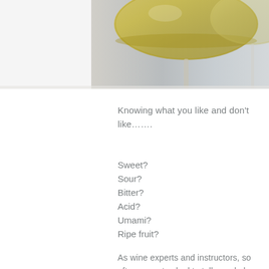[Figure (photo): Close-up photograph of wine glasses with white/golden wine, stems visible, gray background]
Knowing what you like and don't like…….
Sweet?
Sour?
Bitter?
Acid?
Umami?
Ripe fruit?
As wine experts and instructors, so often we get asked to tell people how to pick a wine they like. This can be more difficult than you might think, because it really requires us to read minds many times. The